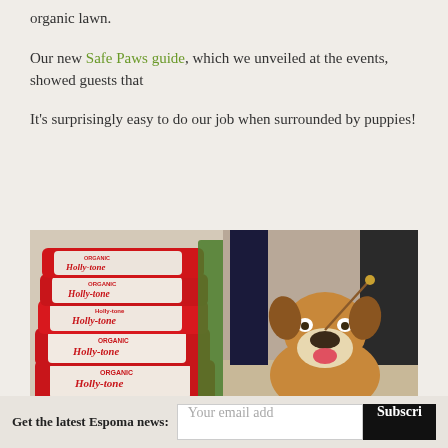organic lawn.
Our new Safe Paws guide, which we unveiled at the events, showed guests that
It's surprisingly easy to do our job when surrounded by puppies!
[Figure (photo): Photo of stacked bags of Organic Holly-tone fertilizer on the left, and a happy bulldog sitting on the right, indoors at an event.]
Get the latest Espoma news: [email input] [Subscribe button]